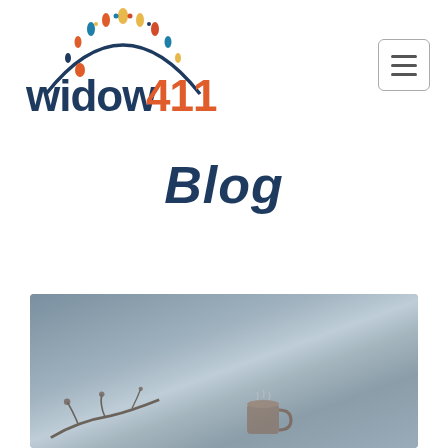[Figure (logo): widow411 logo with colorful semicircle of decorative dots/teardrops above stylized text 'widow411' in navy blue and orange-red]
[Figure (other): Hamburger menu button (three horizontal lines) inside a rounded rectangle border]
Blog
[Figure (photo): Muted blueish-grey photo showing a ceramic mug and some twigs/branches on a foggy background]